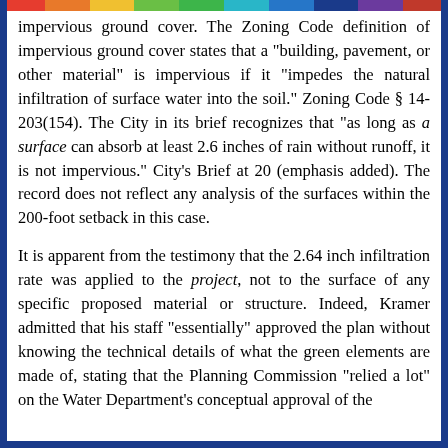impervious ground cover. The Zoning Code definition of impervious ground cover states that a "building, pavement, or other material" is impervious if it "impedes the natural infiltration of surface water into the soil." Zoning Code § 14-203(154). The City in its brief recognizes that "as long as a surface can absorb at least 2.6 inches of rain without runoff, it is not impervious." City's Brief at 20 (emphasis added). The record does not reflect any analysis of the surfaces within the 200-foot setback in this case.
It is apparent from the testimony that the 2.64 inch infiltration rate was applied to the project, not to the surface of any specific proposed material or structure. Indeed, Kramer admitted that his staff "essentially" approved the plan without knowing the technical details of what the green elements are made of, stating that the Planning Commission "relied a lot" on the Water Department's conceptual approval of the